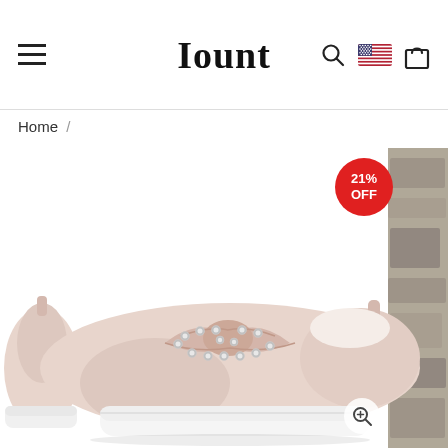Iount — navigation header with hamburger menu, logo, search, US flag, and shopping bag icons
Home /
[Figure (photo): E-commerce product page showing a beige/pink slip-on sneaker with a knotted bow detail adorned with silver studs, white platform sole. Left side shows a partial rear view of the same shoe. Right edge shows a partial image of a stone/tile background. A red circular badge shows '21% OFF'.]